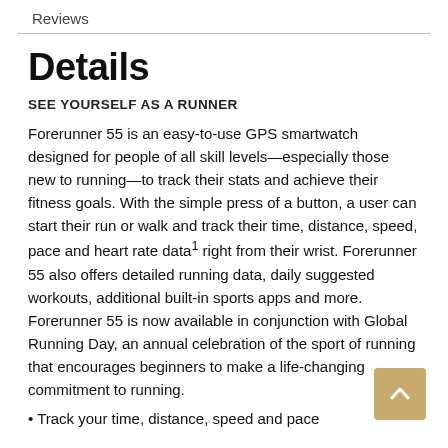Reviews
Details
SEE YOURSELF AS A RUNNER
Forerunner 55 is an easy-to-use GPS smartwatch designed for people of all skill levels—especially those new to running—to track their stats and achieve their fitness goals. With the simple press of a button, a user can start their run or walk and track their time, distance, speed, pace and heart rate data1 right from their wrist. Forerunner 55 also offers detailed running data, daily suggested workouts, additional built-in sports apps and more. Forerunner 55 is now available in conjunction with Global Running Day, an annual celebration of the sport of running that encourages beginners to make a life-changing commitment to running.